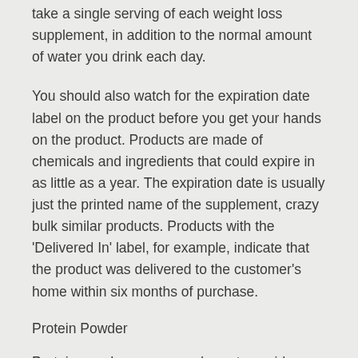take a single serving of each weight loss supplement, in addition to the normal amount of water you drink each day.
You should also watch for the expiration date label on the product before you get your hands on the product. Products are made of chemicals and ingredients that could expire in as little as a year. The expiration date is usually just the printed name of the supplement, crazy bulk similar products. Products with the 'Delivered In' label, for example, indicate that the product was delivered to the customer's home within six months of purchase.
Protein Powder
Protein powders are a good way to avoid buying more expensive supplements that are too diluted to be effective. Protein powders are typically made using the protein powder